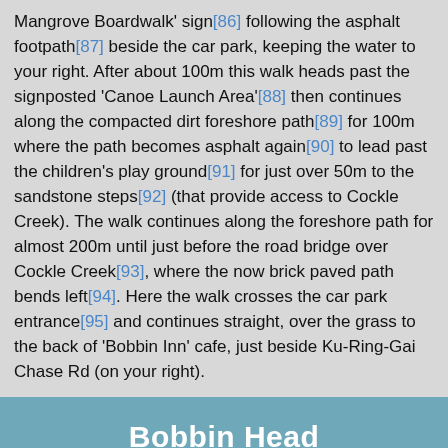Mangrove Boardwalk' sign[86] following the asphalt footpath[87] beside the car park, keeping the water to your right. After about 100m this walk heads past the signposted 'Canoe Launch Area'[88] then continues along the compacted dirt foreshore path[89] for 100m where the path becomes asphalt again[90] to lead past the children's play ground[91] for just over 50m to the sandstone steps[92] (that provide access to Cockle Creek). The walk continues along the foreshore path for almost 200m until just before the road bridge over Cockle Creek[93], where the now brick paved path bends left[94]. Here the walk crosses the car park entrance[95] and continues straight, over the grass to the back of 'Bobbin Inn' cafe, just beside Ku-Ring-Gai Chase Rd (on your right).
Bobbin Head
Bobbin Head is a historic recreation area which is still